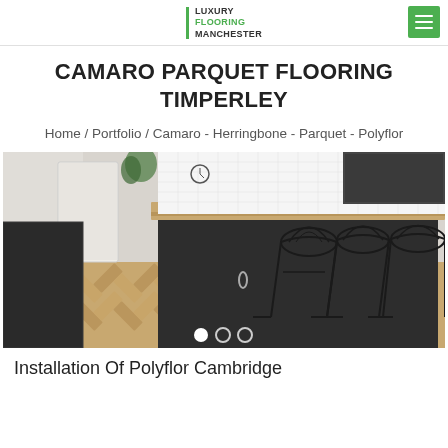LUXURY FLOORING MANCHESTER
CAMARO PARQUET FLOORING TIMPERLEY
Home / Portfolio / Camaro - Herringbone - Parquet - Polyflor
[Figure (photo): Kitchen interior with herringbone parquet flooring, dark cabinetry, island with wooden countertop and black wire bar stools]
Installation Of Polyflor Cambridge